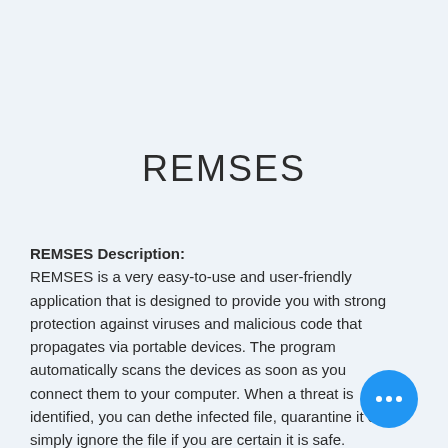REMSES
REMSES Description:
REMSES is a very easy-to-use and user-friendly application that is designed to provide you with strong protection against viruses and malicious code that propagates via portable devices. The program automatically scans the devices as soon as you connect them to your computer. When a threat is identified, you can delete the infected file, quarantine it or simply ignore the file if you are certain it is safe.